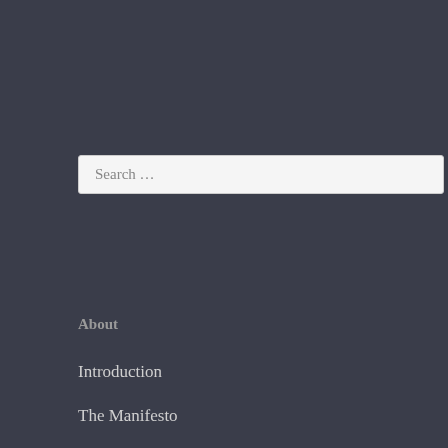Search …
About
Introduction
The Manifesto
Urbit: ~radlux-hombus
Categories
Class Dynamics It's the Economy Stupid Living in